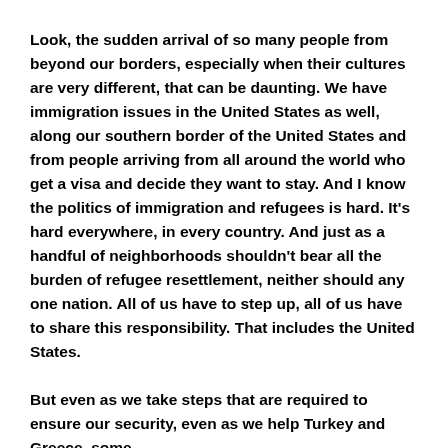Look, the sudden arrival of so many people from beyond our borders, especially when their cultures are very different, that can be daunting. We have immigration issues in the United States as well, along our southern border of the United States and from people arriving from all around the world who get a visa and decide they want to stay. And I know the politics of immigration and refugees is hard. It's hard everywhere, in every country. And just as a handful of neighborhoods shouldn't bear all the burden of refugee resettlement, neither should any one nation. All of us have to step up, all of us have to share this responsibility. That includes the United States.

But even as we take steps that are required to ensure our security, even as we help Turkey and Greece, some